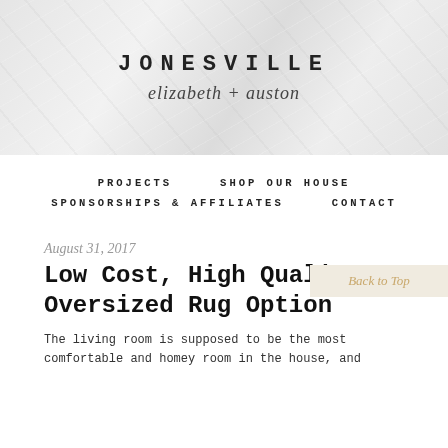[Figure (illustration): Marble texture header banner with site name JONESVILLE and subtitle elizabeth + auston]
JONESVILLE
elizabeth + auston
PROJECTS   SHOP OUR HOUSE   SPONSORSHIPS & AFFILIATES   CONTACT
August 31, 2017
Low Cost, High Quality Oversized Rug Option
The living room is supposed to be the most comfortable and homey room in the house, and